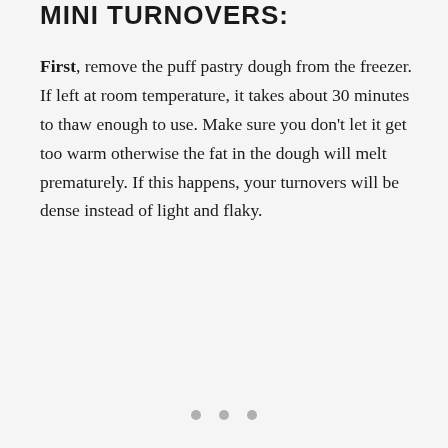MINI TURNOVERS:
First, remove the puff pastry dough from the freezer. If left at room temperature, it takes about 30 minutes to thaw enough to use. Make sure you don't let it get too warm otherwise the fat in the dough will melt prematurely. If this happens, your turnovers will be dense instead of light and flaky.